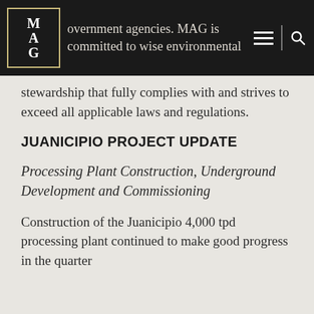overnment agencies. MAG is committed to wise environmental stewardship that fully complies with and strives to exceed all applicable laws and regulations.
JUANICIPIO PROJECT UPDATE
Processing Plant Construction, Underground Development and Commissioning
Construction of the Juanicipio 4,000 tpd processing plant continued to make good progress in the quarter